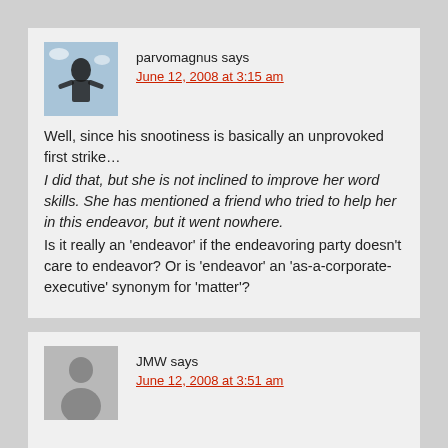parvomagnus says
June 12, 2008 at 3:15 am
Well, since his snootiness is basically an unprovoked first strike…
I did that, but she is not inclined to improve her word skills. She has mentioned a friend who tried to help her in this endeavor, but it went nowhere.
Is it really an 'endeavor' if the endeavoring party doesn't care to endeavor? Or is 'endeavor' an 'as-a-corporate-executive' synonym for 'matter'?
JMW says
June 12, 2008 at 3:51 am